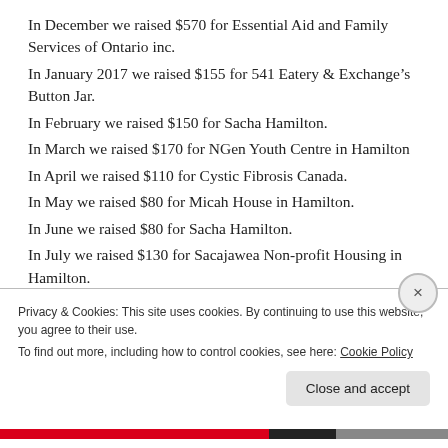In December we raised $570 for Essential Aid and Family Services of Ontario inc.
In January 2017 we raised $155 for 541 Eatery & Exchange's Button Jar.
In February we raised $150 for Sacha Hamilton.
In March we raised $170 for NGen Youth Centre in Hamilton
In April we raised $110 for Cystic Fibrosis Canada.
In May we raised $80 for Micah House in Hamilton.
In June we raised $80 for Sacha Hamilton.
In July we raised $130 for Sacajawea Non-profit Housing in Hamilton.
In August we raised $100 for Rainbow Camp.
In September we raised $100 for the Canadian Breast
Privacy & Cookies: This site uses cookies. By continuing to use this website, you agree to their use. To find out more, including how to control cookies, see here: Cookie Policy
Close and accept